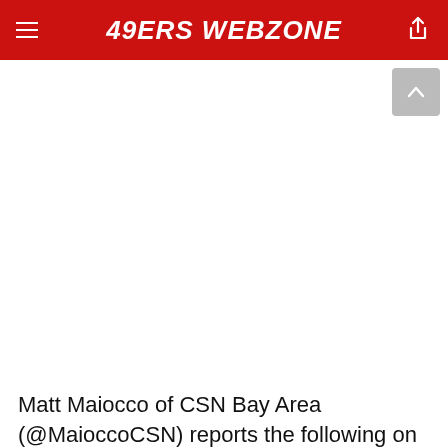49ERS WEBZONE
Matt Maiocco of CSN Bay Area (@MaioccoCSN) reports the following on Twitter: